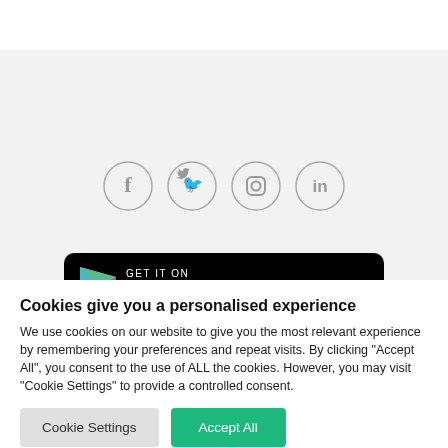[Figure (illustration): Four social media icons in gray circles: Facebook (f), Twitter (bird), Instagram (camera), LinkedIn (in)]
[Figure (screenshot): Google Play Store download banner with black background, play triangle icon, 'GET IT ON Google Play' text]
Cookies give you a personalised experience
We use cookies on our website to give you the most relevant experience by remembering your preferences and repeat visits. By clicking "Accept All", you consent to the use of ALL the cookies. However, you may visit "Cookie Settings" to provide a controlled consent.
Cookie Settings | Accept All